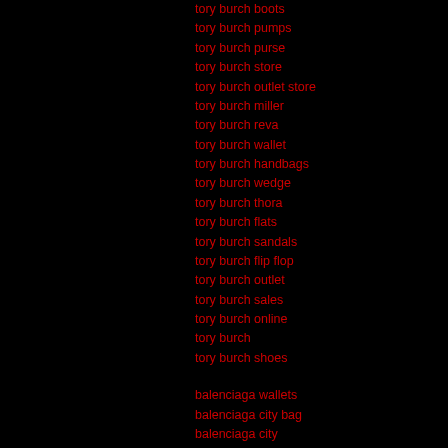tory burch boots
tory burch pumps
tory burch purse
tory burch store
tory burch outlet store
tory burch miller
tory burch reva
tory burch wallet
tory burch handbags
tory burch wedge
tory burch thora
tory burch flats
tory burch sandals
tory burch flip flop
tory burch outlet
tory burch sales
tory burch online
tory burch
tory burch shoes
balenciaga wallets
balenciaga city bag
balenciaga city
balenciaga outlet
balenciaga shoes
balenciaga on sale
balenciaga perfumes
balenciaga handbags
[ No Comments Allowed for Anonymous, please register ]
Microsoft Office 2010 (Score: 1)
by aaaa258 on Saturday, September 03 @ 02:45:54 BST
(User Info | Send a Message) http://www.grandsoftwares.com/...
So, for all intents Office 2010 and purposes, it is Microsoft Office if you hate it. At 99 Microsoft Office bucks for a three-installation the best-value Office home edition ever. Office 2010 professional apps Microsoft outlook 2010 are included. I recommend 32-bit compatibility. 64-bit versions allow you to work with HUGE files